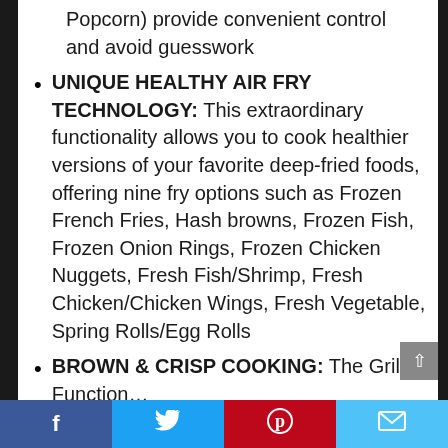Popcorn) provide convenient control and avoid guesswork
UNIQUE HEALTHY AIR FRY TECHNOLOGY: This extraordinary functionality allows you to cook healthier versions of your favorite deep-fried foods, offering nine fry options such as Frozen French Fries, Hash browns, Frozen Fish, Frozen Onion Rings, Frozen Chicken Nuggets, Fresh Fish/Shrimp, Fresh Chicken/Chicken Wings, Fresh Vegetable, Spring Rolls/Egg Rolls
BROWN & CRISP COOKING: The Grill Function...